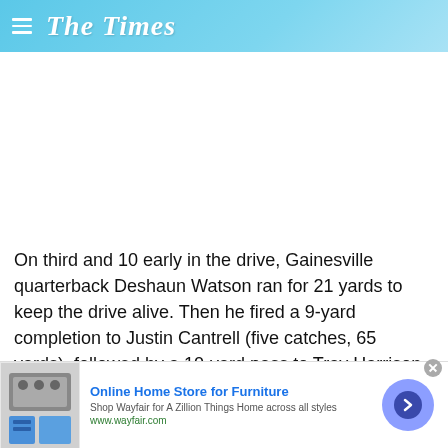The Times
On third and 10 early in the drive, Gainesville quarterback Deshaun Watson ran for 21 yards to keep the drive alive. Then he fired a 9-yard completion to Justin Cantrell (five catches, 65 yards), followed by a 10-yard pass to Tray Harrison. Four plays later, Watson picked up 4 yards on a crucial
[Figure (infographic): Advertisement banner for Wayfair Online Home Store for Furniture with product image on left, ad text in center, and navigation arrow circle on right]